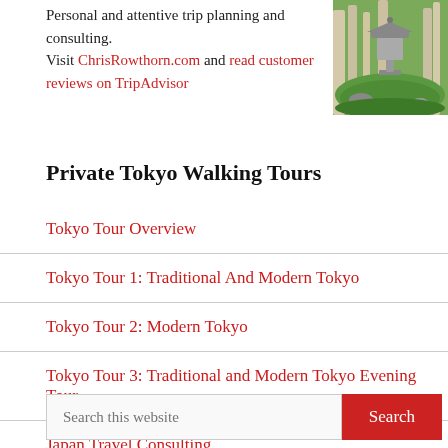Personal and attentive trip planning and consulting.
Visit ChrisRowthorn.com and read customer reviews on TripAdvisor
[Figure (photo): Japanese garden with stone lantern and green moss]
Private Tokyo Walking Tours
Tokyo Tour Overview
Tokyo Tour 1: Traditional And Modern Tokyo
Tokyo Tour 2: Modern Tokyo
Tokyo Tour 3: Traditional and Modern Tokyo Evening Tour
Japan Travel Consulting
Search this website